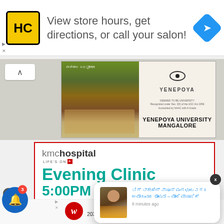[Figure (screenshot): Advertisement banner with HC salon logo, text 'View store hours, get directions, or call your salon!' and a blue navigation diamond icon]
[Figure (screenshot): Yenepoya University Mangalore promotional image showing university campus building and institutional logo]
[Figure (screenshot): KMC Hospital advertisement showing 'Evening Clinic 5:00PM to 7:00' in teal text on white background with red border]
[Figure (screenshot): Notification popup with a person's photo and Kannada language text, showing '8 minutes ago']
20321 Susan Leslie Dr, Ashb...